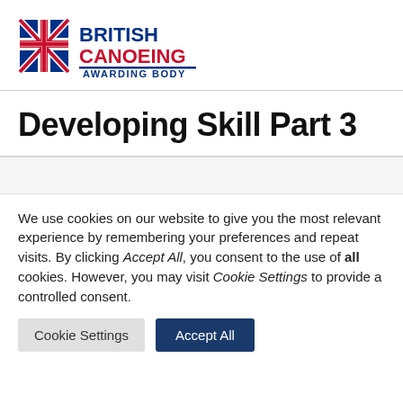[Figure (logo): British Canoeing Awarding Body logo with Union Jack shield and red/blue text]
Developing Skill Part 3
We use cookies on our website to give you the most relevant experience by remembering your preferences and repeat visits. By clicking Accept All, you consent to the use of all cookies. However, you may visit Cookie Settings to provide a controlled consent.